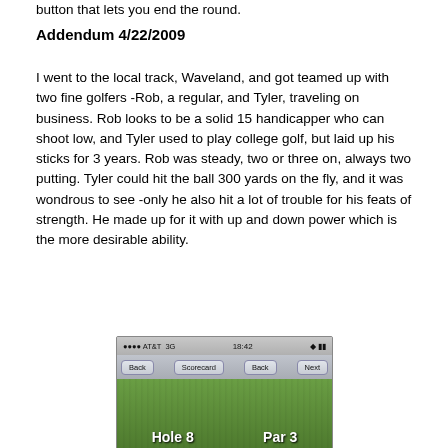button that lets you end the round.
Addendum 4/22/2009
I went to the local track, Waveland, and got teamed up with two fine golfers -Rob, a regular, and Tyler, traveling on business. Rob looks to be a solid 15 handicapper who can shoot low, and Tyler used to play college golf, but laid up his sticks for 3 years. Rob was steady, two or three on, always two putting. Tyler could hit the ball 300 yards on the fly, and it was wondrous to see -only he also hit a lot of trouble for his feats of strength. He made up for it with up and down power which is the more desirable ability.
[Figure (screenshot): iPhone screenshot showing a golf scorecard app with status bar showing AT&T 3G, 18:42, navigation buttons (Back, Scorecard, Back, Next), and a grass background with text 'Hole 8  Par 3']